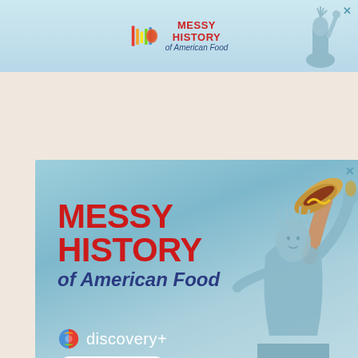[Figure (illustration): Small horizontal banner ad for 'Messy History of American Food' on Discovery+. Light blue background with Discovery+ logo, text, and Statue of Liberty holding a hotdog.]
[Figure (illustration): Large square advertisement for 'Messy History of American Food' on Discovery+. Light blue gradient background featuring the Statue of Liberty holding a hotdog, bold red title text, Discovery+ logo, and a 'stream now' button with rainbow bar.]
[Figure (illustration): Partial advertisement on cream/pink background reading 'Lose the trolls. Keep the comments.' with partial text 'It time t...' at bottom.]